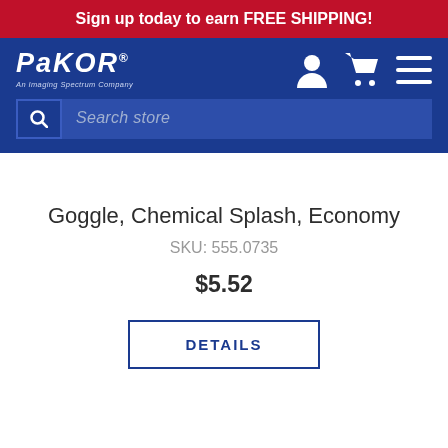Sign up today to earn FREE SHIPPING!
[Figure (logo): Pakor logo - An Imaging Spectrum Company on blue navigation bar with user, cart, and menu icons]
Search store
Goggle, Chemical Splash, Economy
SKU: 555.0735
$5.52
DETAILS